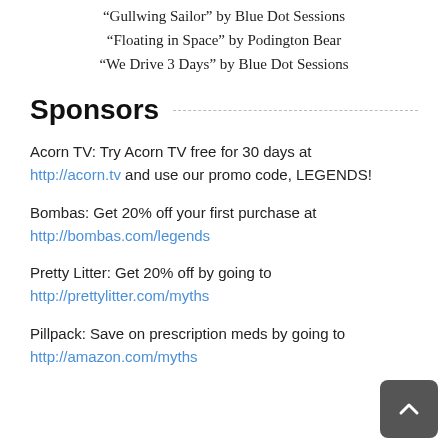"Gullwing Sailor" by Blue Dot Sessions
"Floating in Space" by Podington Bear
"We Drive 3 Days" by Blue Dot Sessions
Sponsors
Acorn TV: Try Acorn TV free for 30 days at http://acorn.tv and use our promo code, LEGENDS!
Bombas: Get 20% off your first purchase at http://bombas.com/legends
Pretty Litter: Get 20% off by going to http://prettylitter.com/myths
Pillpack: Save on prescription meds by going to http://amazon.com/myths